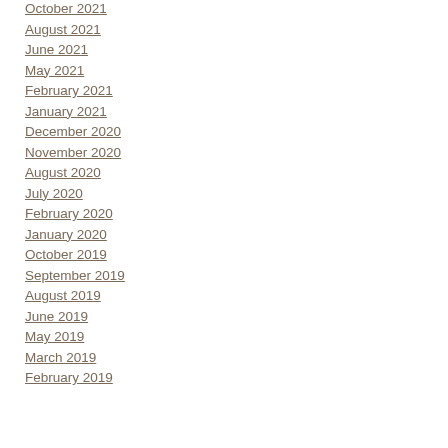October 2021
August 2021
June 2021
May 2021
February 2021
January 2021
December 2020
November 2020
August 2020
July 2020
February 2020
January 2020
October 2019
September 2019
August 2019
June 2019
May 2019
March 2019
February 2019